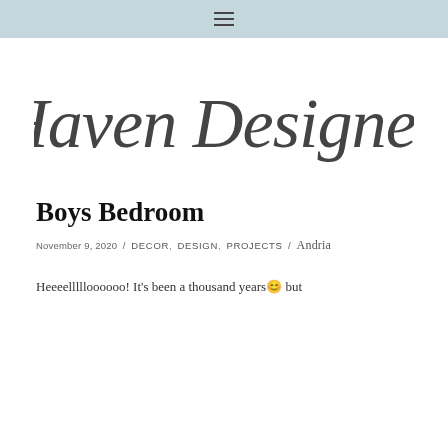≡
[Figure (logo): Haven Designed cursive script logo]
Boys Bedroom
November 9, 2020  /  DECOR,  DESIGN,  PROJECTS  /  Andria
Heeeellllloooooo! It's been a thousand years 😊 but